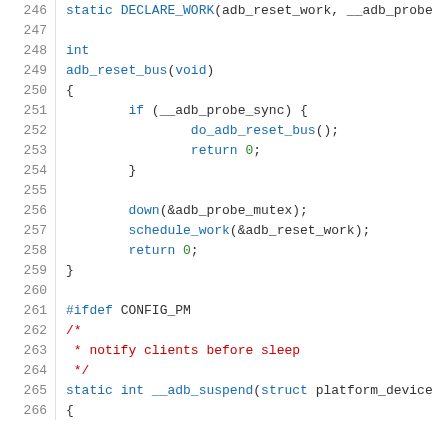[Figure (screenshot): Source code listing (C language) showing lines 246–266, with syntax highlighting. Line numbers in gray on left, keywords in blue, comments in red, numeric literals in green.]